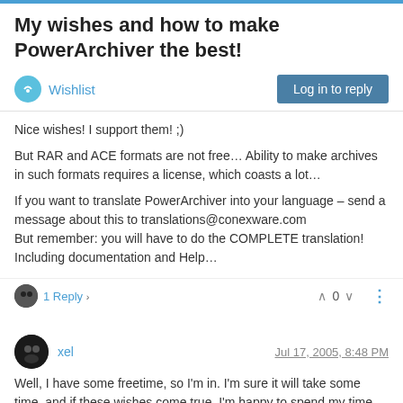My wishes and how to make PowerArchiver the best!
Wishlist
Nice wishes! I support them! ;)
But RAR and ACE formats are not free… Ability to make archives in such formats requires a license, which coasts a lot…
If you want to translate PowerArchiver into your language – send a message about this to translations@conexware.com
But remember: you will have to do the COMPLETE translation!
Including documentation and Help…
1 Reply >   ^ 0 v
xel   Jul 17, 2005, 8:48 PM
Well, I have some freetime, so I'm in. I'm sure it will take some time, and if these wishes come true, I'm happy to spend my time on it. :rolleyes: Of course except ACE and RAR format compression